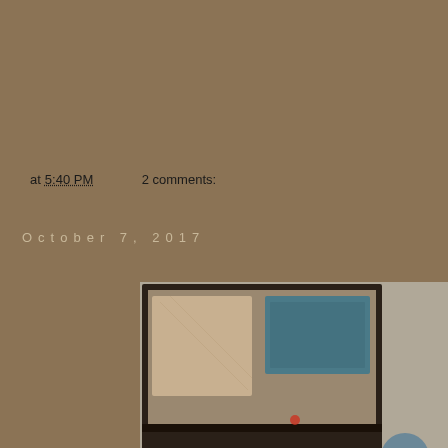at 5:40 PM    2 comments:
October 7, 2017
[Figure (photo): A decorative wall-mounted shelf unit with fabric/textile squares arranged on upper shelves in cream and blue tones, a garland of pom-poms or balls strung across the middle, and teal/blue fabric squares on lower shelves with small decorative items. A round blue wall sconce is visible to the right. The lower portion shows what appears to be another shelf unit and stuffed animal below.]